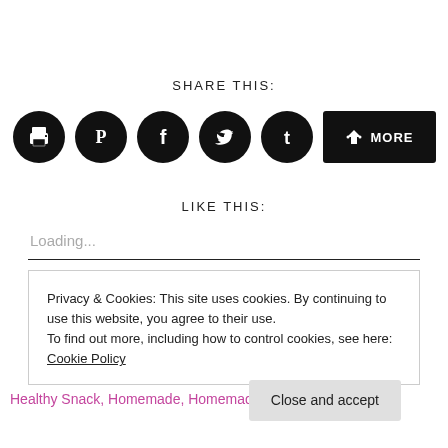SHARE THIS:
[Figure (infographic): Row of social share buttons: print, Pinterest, Facebook, Twitter, Tumblr (black circles with icons), and a black MORE button with share icon]
LIKE THIS:
Loading...
Privacy & Cookies: This site uses cookies. By continuing to use this website, you agree to their use.
To find out more, including how to control cookies, see here:
Cookie Policy
Close and accept
Healthy Snack, Homemade, Homemade Dip, Homemade